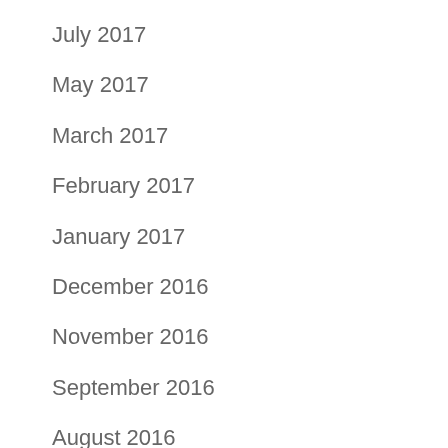July 2017
May 2017
March 2017
February 2017
January 2017
December 2016
November 2016
September 2016
August 2016